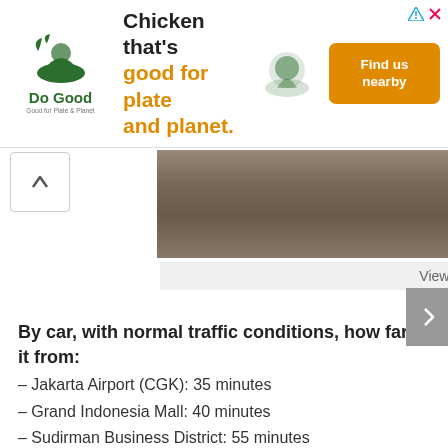[Figure (other): Advertisement banner for Do Good chicken restaurant with orange 'Find us nearby' button]
[Figure (photo): View of Pluit Seaview Apartment - aerial or distant view of apartment building]
View of Pluit Seaview Apartment
By car, with normal traffic conditions, how far is it from:
– Jakarta Airport (CGK): 35 minutes
– Grand Indonesia Mall: 40 minutes
– Sudirman Business District: 55 minutes
– Kota Tua: 10 minutes
– Kemang: 70 minutes
Public transportation and access to highways:
– Nearest Transjakarta halt: It's a bit far, 750